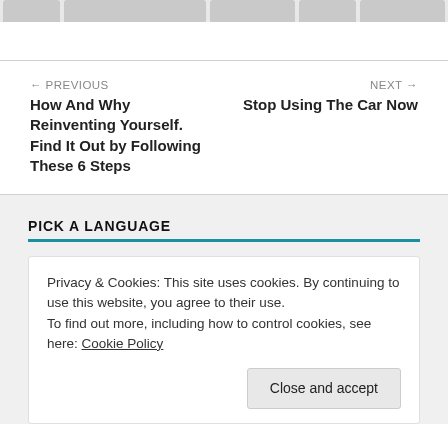[Figure (other): Gray placeholder image strip at top of page]
← PREVIOUS
How And Why Reinventing Yourself. Find It Out by Following These 6 Steps
NEXT →
Stop Using The Car Now
PICK A LANGUAGE
Privacy & Cookies: This site uses cookies. By continuing to use this website, you agree to their use.
To find out more, including how to control cookies, see here: Cookie Policy
Close and accept